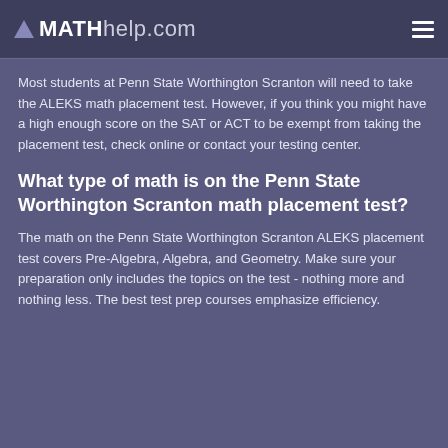MATHhelp.com
Most students at Penn State Worthington Scranton will need to take the ALEKS math placement test. However, if you think you might have a high enough score on the SAT or ACT to be exempt from taking the placement test, check online or contact your testing center.
What type of math is on the Penn State Worthington Scranton math placement test?
The math on the Penn State Worthington Scranton ALEKS placement test covers Pre-Algebra, Algebra, and Geometry. Make sure your preparation only includes the topics on the test - nothing more and nothing less. The best test prep courses emphasize efficiency.